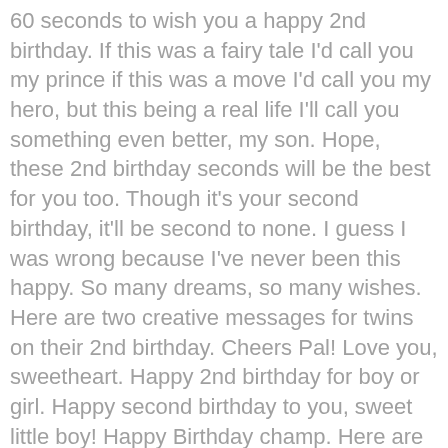60 seconds to wish you a happy 2nd birthday. If this was a fairy tale I'd call you my prince if this was a move I'd call you my hero, but this being a real life I'll call you something even better, my son. Hope, these 2nd birthday seconds will be the best for you too. Though it's your second birthday, it'll be second to none. I guess I was wrong because I've never been this happy. So many dreams, so many wishes. Here are two creative messages for twins on their 2nd birthday. Cheers Pal! Love you, sweetheart. Happy 2nd birthday for boy or girl. Happy second birthday to you, sweet little boy! Happy Birthday champ. Here are some funny birthday wishes for any baby turning 2. #1: Receive my deepest congratulations for the birth of your adorable baby boy. For you, our beautiful, little (boy, girl), I have a very special birthday wish: May your 2nd birthday and every day of your life be as wonderful as you are to me. I think one day you'll be perfect football player but now be ready for your little 2nd birthday party! 2 parties! Cute Birthday Wishes and Adorable Images for your Wife. Amazing Birthday